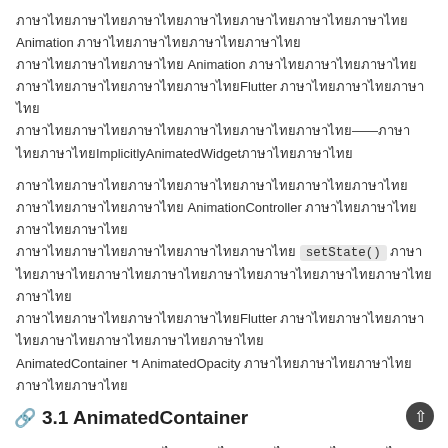ภาษาไทย Animation ภาษาไทย ภาษาไทย Animation ภาษาไทยFlutter ภาษาไทย ภาษาไทย——ภาษาไทยImplicitlyAnimatedWidgetภาษาไทย
ภาษาไทย AnimationController ภาษาไทย setState() ภาษาไทย ภาษาไทยFlutter ภาษาไทย AnimatedContainer ฯ AnimatedOpacity ภาษาไทย
3.1 AnimatedContainer
AnimatedContainer ภาษาไทย Contianer ภาษาไทย Contianer ภาษาไทย
[Figure (screenshot): Dart code block showing: var height = 40.0 ... Container(]